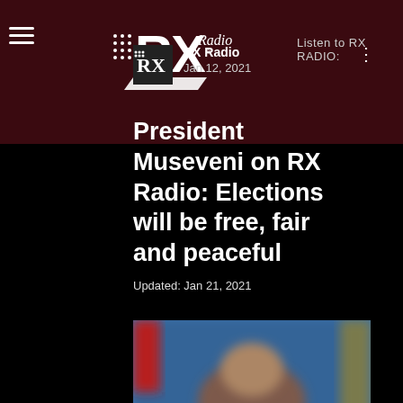Listen to RX RADIO:
RX Radio
Jan 12, 2021
President Museveni on RX Radio: Elections will be free, fair and peaceful
Updated: Jan 21, 2021
[Figure (photo): Blurred photo of a person in front of a blue background, appears to be a broadcast/interview setting]